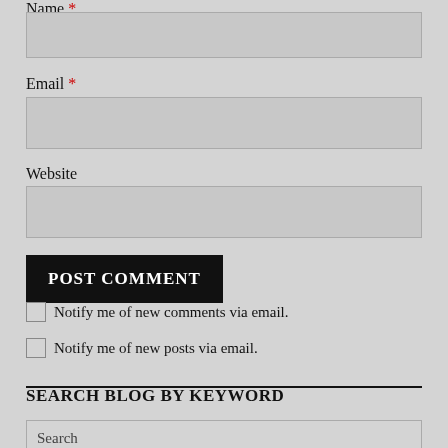Name *
Email *
Website
POST COMMENT
Notify me of new comments via email.
Notify me of new posts via email.
SEARCH BLOG BY KEYWORD
Search